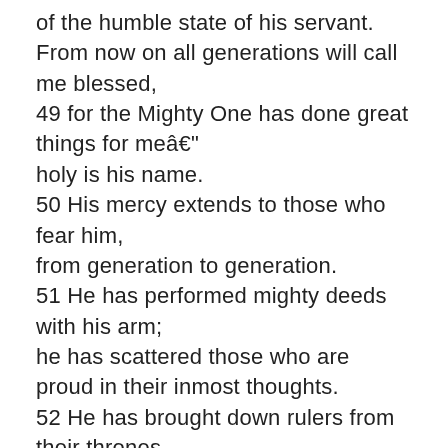of the humble state of his servant. From now on all generations will call me blessed, 49 for the Mighty One has done great things for meâ€” holy is his name. 50 His mercy extends to those who fear him, from generation to generation. 51 He has performed mighty deeds with his arm; he has scattered those who are proud in their inmost thoughts. 52 He has brought down rulers from their thrones but has lifted up the humble